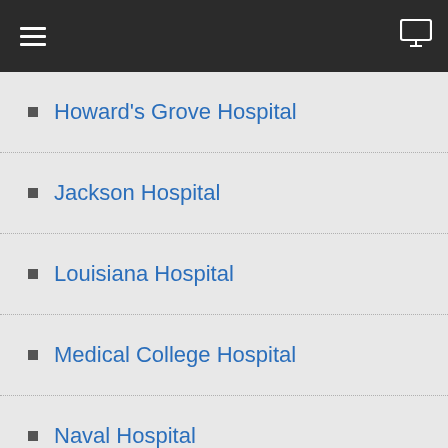☰  ☐
Howard's Grove Hospital
Jackson Hospital
Louisiana Hospital
Medical College Hospital
Naval Hospital
Other Hospitals
Private Hospitals
Private Quarters
Ross Factory Hospital*
Soldiers' Home
South Carolina Hospital